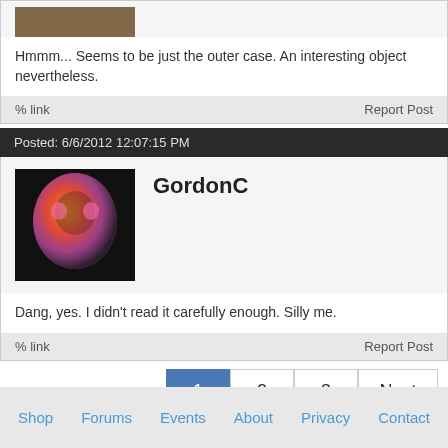Hmmm... Seems to be just the outer case. An interesting object nevertheless.
% link   Report Post
Posted: 6/6/2012 12:07:15 PM
[Figure (photo): Avatar photo of GordonC user, colorized face image with dark background]
GordonC
Dang, yes. I didn't read it carefully enough. Silly me.
% link   Report Post
1  2  3  Next
You must be logged in to post a reply. Please log in or register for a new account.
Shop   Forums   Events   About   Privacy   Contact